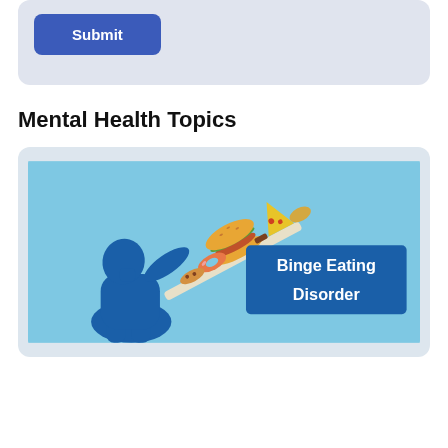[Figure (screenshot): A form card with a blue 'Submit' button on a light gray/blue background]
Mental Health Topics
[Figure (illustration): Illustration of a blue silhouette person tilting back consuming a tray piled with various foods (burger, pizza, donuts, etc.) with a blue rectangle label reading 'Binge Eating Disorder' in white bold text. Background is light blue.]